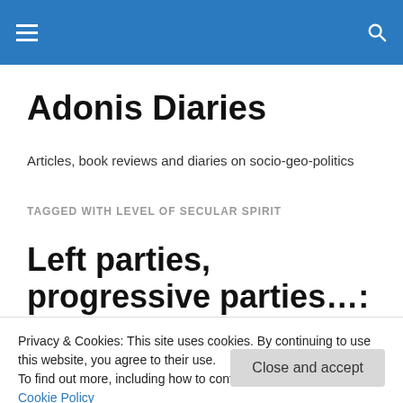Adonis Diaries — navigation bar with menu and search icons
Adonis Diaries
Articles, book reviews and diaries on socio-geo-politics
TAGGED WITH LEVEL OF SECULAR SPIRIT
Left parties, progressive parties…: What's that to do
Privacy & Cookies: This site uses cookies. By continuing to use this website, you agree to their use.
To find out more, including how to control cookies, see here: Cookie Policy
Close and accept